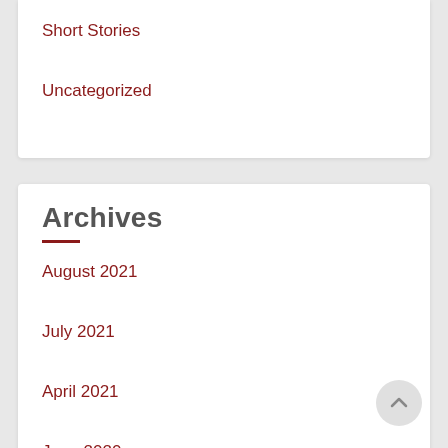Short Stories
Uncategorized
Archives
August 2021
July 2021
April 2021
June 2020